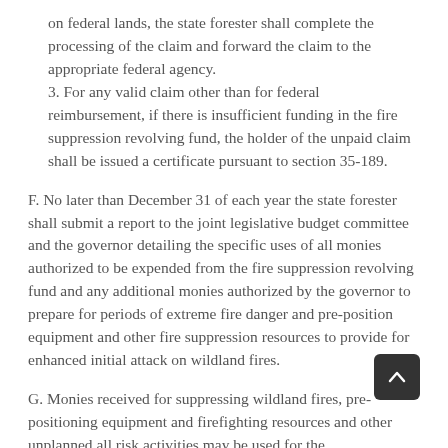on federal lands, the state forester shall complete the processing of the claim and forward the claim to the appropriate federal agency.
3. For any valid claim other than for federal reimbursement, if there is insufficient funding in the fire suppression revolving fund, the holder of the unpaid claim shall be issued a certificate pursuant to section 35-189.
F. No later than December 31 of each year the state forester shall submit a report to the joint legislative budget committee and the governor detailing the specific uses of all monies authorized to be expended from the fire suppression revolving fund and any additional monies authorized by the governor to prepare for periods of extreme fire danger and pre-position equipment and other fire suppression resources to provide for enhanced initial attack on wildland fires.
G. Monies received for suppressing wildland fires, pre-positioning equipment and firefighting resources and other unplanned all risk activities may be used for the purposes of section 37-623, and this section.